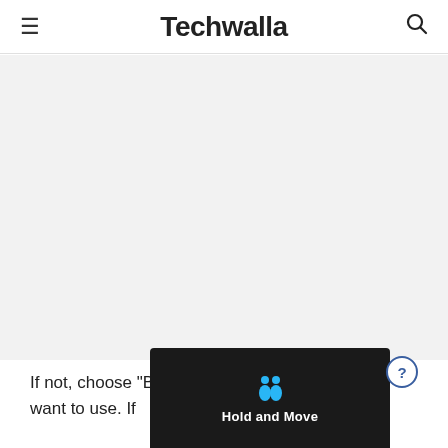Techwalla
[Figure (other): Gray advertisement placeholder area]
If not, choose "Browse" and find the folder you want to use. If [image overlay] s the
[Figure (screenshot): Hold and Move app overlay with icon of two people and help button]